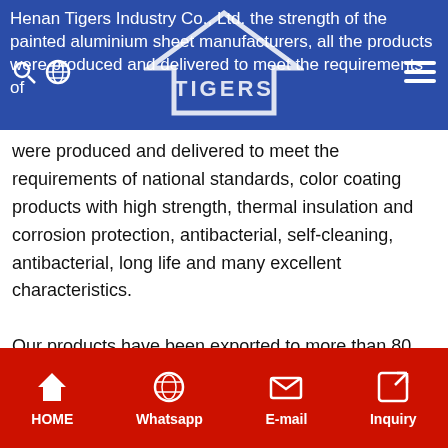Henan Tigers Industry Co., Ltd. the strength of the painted aluminium sheet manufacturers, all the products were produced and delivered to meet the requirements of
[Figure (logo): Tigers Industry logo - house/roof shape with TIGERS text]
were produced and delivered to meet the requirements of national standards, color coating products with high strength, thermal insulation and corrosion protection, antibacterial, self-cleaning, antibacterial, long life and many excellent characteristics.

Our products have been exported to more than 80 countries all over the world. And the series products of White, light off-white, crimson, camouflage pattern, reticulated, orange peel, Green, dark green, light bean green are well received by customers. We have a professional service team to provide you with project
HOME   Whatsapp   E-mail   Inquiry